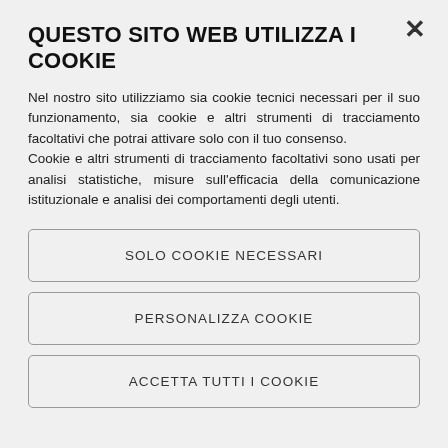QUESTO SITO WEB UTILIZZA I COOKIE
Nel nostro sito utilizziamo sia cookie tecnici necessari per il suo funzionamento, sia cookie e altri strumenti di tracciamento facoltativi che potrai attivare solo con il tuo consenso.
Cookie e altri strumenti di tracciamento facoltativi sono usati per analisi statistiche, misure sull'efficacia della comunicazione istituzionale e analisi dei comportamenti degli utenti.
SOLO COOKIE NECESSARI
PERSONALIZZA COOKIE
ACCETTA TUTTI I COOKIE